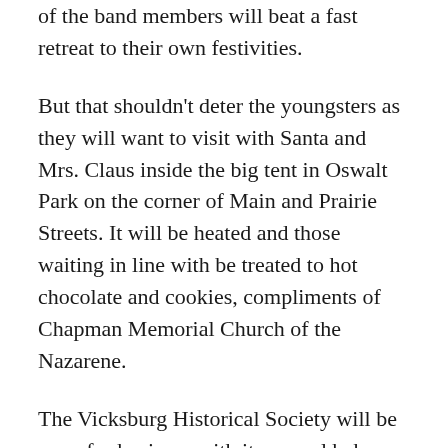of the band members will beat a fast retreat to their own festivities.
But that shouldn't deter the youngsters as they will want to visit with Santa and Mrs. Claus inside the big tent in Oswalt Park on the corner of Main and Prairie Streets. It will be heated and those waiting in line with be treated to hot chocolate and cookies, compliments of Chapman Memorial Church of the Nazarene.
The Vicksburg Historical Society will be open for business with its annual bake sale at the Depot Museum from 10 a.m.-5 p.m. The model train layout in the Historic Village will be open for train enthusiasts during the same hours as the bake sale, on December 5, plus the two Saturdays following in December.
All of the “Christmas in the Village” activities this year have been the responsibility of the Vicksburg Downtown